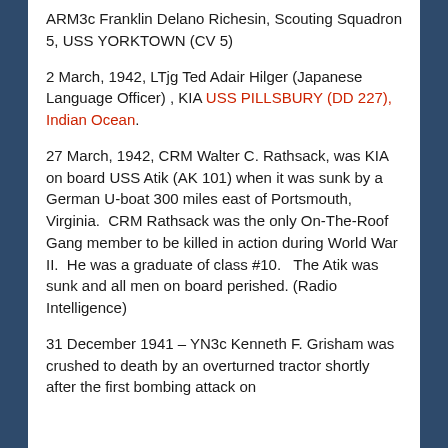ARM3c Franklin Delano Richesin, Scouting Squadron 5, USS YORKTOWN (CV 5)
2 March, 1942, LTjg Ted Adair Hilger (Japanese Language Officer) , KIA USS PILLSBURY (DD 227), Indian Ocean.
27 March, 1942, CRM Walter C. Rathsack, was KIA on board USS Atik (AK 101) when it was sunk by a German U-boat 300 miles east of Portsmouth, Virginia.  CRM Rathsack was the only On-The-Roof Gang member to be killed in action during World War II.  He was a graduate of class #10.   The Atik was sunk and all men on board perished. (Radio Intelligence)
31 December 1941 – YN3c Kenneth F. Grisham was crushed to death by an overturned tractor shortly after the first bombing attack on